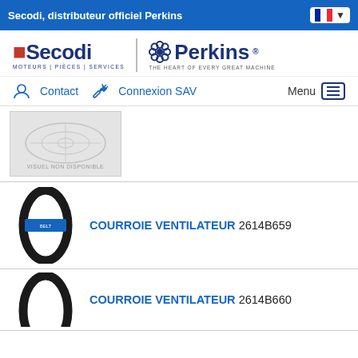Secodi, distributeur officiel Perkins
[Figure (logo): Secodi logo with tagline MOTEURS | PIÈCES | SERVICES and Perkins logo with tagline THE HEART OF EVERY GREAT MACHINE]
Contact   Connexion SAV   Menu
[Figure (photo): VISUEL NON DISPONIBLE - placeholder image showing engine parts outline]
COURROIE VENTILATEUR 2614B659
[Figure (photo): Black fan belt / drive belt with blue label in center]
COURROIE VENTILATEUR 2614B660
[Figure (photo): Partial view of black fan belt at bottom of page]